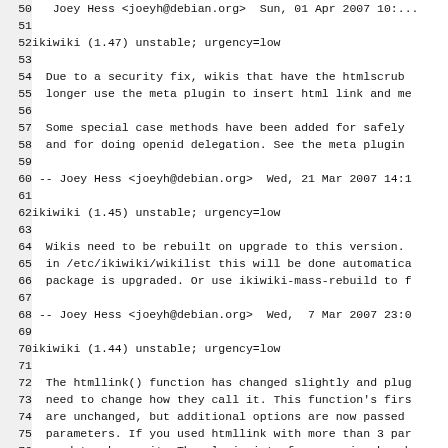Debian changelog code/text viewer showing ikiwiki changelog entries from lines 50-82
52: ikiwiki (1.47) unstable; urgency=low
54-55: Due to a security fix, wikis that have the htmlscrubber enabled can no longer use the meta plugin to insert html link and meta headers.
57-58: Some special case methods have been added for safely doing those things, and for doing openid delegation. See the meta plugin docs for details.
60: -- Joey Hess <joeyh@debian.org>  Wed, 21 Mar 2007 14:...
62: ikiwiki (1.45) unstable; urgency=low
64-66: Wikis need to be rebuilt on upgrade to this version. If your wiki is listed in /etc/ikiwiki/wikilist this will be done automatically when the package is upgraded. Or use ikiwiki-mass-rebuild to force a rebuild.
68: -- Joey Hess <joeyh@debian.org>  Wed,  7 Mar 2007 23:0...
70: ikiwiki (1.44) unstable; urgency=low
72-77: The htmllink() function has changed slightly and plugins that use it may need to change how they call it. This function's first three parameters are unchanged, but additional options are now passed using named parameters. If you used htmllink with more than 3 parameters, you will need to change it. The plugin interface version has been increased to reflect this change.
79: -- Joey Hess <joeyh@debian.org>  Mon, 19 Feb 2007 21:1...
81: ikiwiki (1.42) unstable; urgency=low